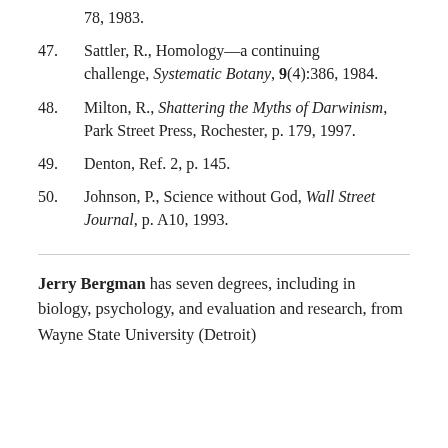78, 1983.
47. Sattler, R., Homology—a continuing challenge, Systematic Botany, 9(4):386, 1984.
48. Milton, R., Shattering the Myths of Darwinism, Park Street Press, Rochester, p. 179, 1997.
49. Denton, Ref. 2, p. 145.
50. Johnson, P., Science without God, Wall Street Journal, p. A10, 1993.
Jerry Bergman has seven degrees, including in biology, psychology, and evaluation and research, from Wayne State University (Detroit)